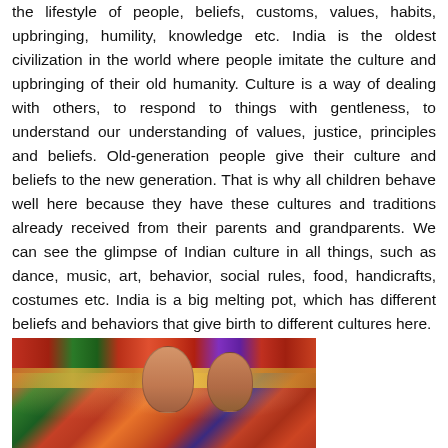the lifestyle of people, beliefs, customs, values, habits, upbringing, humility, knowledge etc. India is the oldest civilization in the world where people imitate the culture and upbringing of their old humanity. Culture is a way of dealing with others, to respond to things with gentleness, to understand our understanding of values, justice, principles and beliefs. Old-generation people give their culture and beliefs to the new generation. That is why all children behave well here because they have these cultures and traditions already received from their parents and grandparents. We can see the glimpse of Indian culture in all things, such as dance, music, art, behavior, social rules, food, handicrafts, costumes etc. India is a big melting pot, which has different beliefs and behaviors that give birth to different cultures here.
[Figure (photo): Photo of women in colorful traditional Indian attire with ornate jewelry and headdresses, representing Indian culture and traditions.]